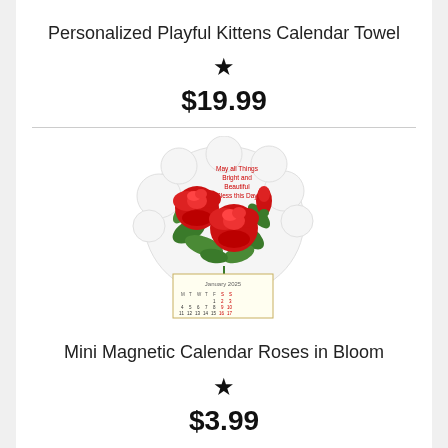Personalized Playful Kittens Calendar Towel
★
$19.99
[Figure (illustration): Mini magnetic calendar with red roses in bloom illustration and a small calendar grid at the bottom]
Mini Magnetic Calendar Roses in Bloom
★
$3.99